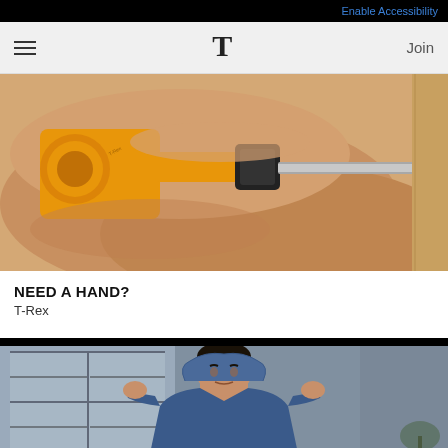Enable Accessibility
≡  T  Join
[Figure (photo): Close-up of hands holding an orange T-Rex branded multi-tool or specialized driver tool, pressing it against a wall or wooden surface]
NEED A HAND?
T-Rex
[Figure (photo): Young man in a blue hoodie pulling the hood up over his head, standing in a modern interior with windows and a plant visible in the background]